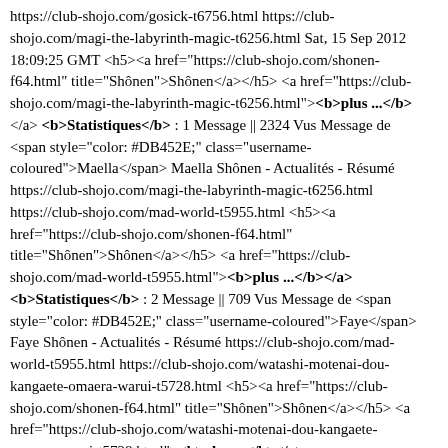https://club-shojo.com/gosick-t6756.html https://club-shojo.com/magi-the-labyrinth-magic-t6256.html Sat, 15 Sep 2012 18:09:25 GMT <h5><a href="https://club-shojo.com/shonen-f64.html" title="Shônen">Shônen</a></h5> <a href="https://club-shojo.com/magi-the-labyrinth-magic-t6256.html"><b>plus ...</b></a> <b>Statistiques</b> : 1 Message || 2324 Vus Message de <span style="color: #DB452E;" class="username-coloured">Maella</span> Maella Shônen - Actualités - Résumé https://club-shojo.com/magi-the-labyrinth-magic-t6256.html https://club-shojo.com/mad-world-t5955.html <h5><a href="https://club-shojo.com/shonen-f64.html" title="Shônen">Shônen</a></h5> <a href="https://club-shojo.com/mad-world-t5955.html"><b>plus ...</b></a> <b>Statistiques</b> : 2 Message || 709 Vus Message de <span style="color: #DB452E;" class="username-coloured">Faye</span> Faye Shônen - Actualités - Résumé https://club-shojo.com/mad-world-t5955.html https://club-shojo.com/watashi-motenai-dou-kangaete-omaera-warui-t5728.html <h5><a href="https://club-shojo.com/shonen-f64.html" title="Shônen">Shônen</a></h5> <a href="https://club-shojo.com/watashi-motenai-dou-kangaete-omaera-warui-t5728.html"><b>plus ...</b></a> <b>Statistiques</b> : 9 Réponses || 935 Vus Message de <span style="color: #DB452E;" class="username-coloured">LiaaaEle</span> LiaaaEle Shônen - Actualités - Résumé https://club-shojo.com/watashi-motenai-dou-kangaete-omaera-warui-t5728.html https://club-shojo.com/last...